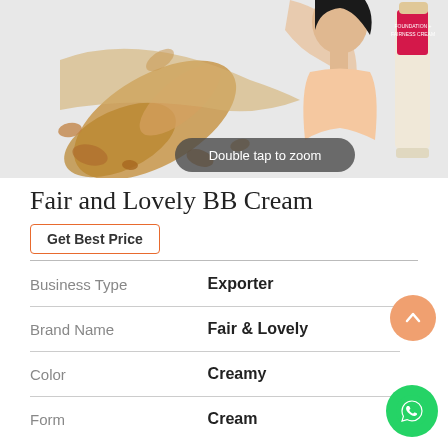[Figure (photo): Product photo of Fair and Lovely BB Cream (Foundation + Fairness Cream) with a woman model, a cream tube, and cosmetic powder splatter on a light grey background. A 'Double tap to zoom' badge overlays the image.]
Fair and Lovely BB Cream
Get Best Price
| Business Type | Exporter |
| Brand Name | Fair & Lovely |
| Color | Creamy |
| Form | Cream |